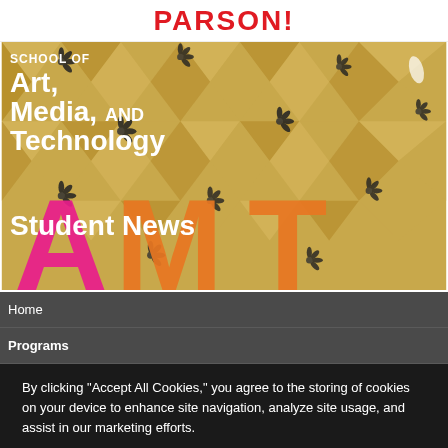PARSONS!
[Figure (photo): Hero image of geometric gold ceiling with decorative black elements, overlaid with school name text 'SCHOOL OF Art, Media, AND Technology', 'Student News', and large AMT letters in pink and orange]
Home
Programs
By clicking “Accept All Cookies,” you agree to the storing of cookies on your device to enhance site navigation, analyze site usage, and assist in our marketing efforts.
Cookie Statement